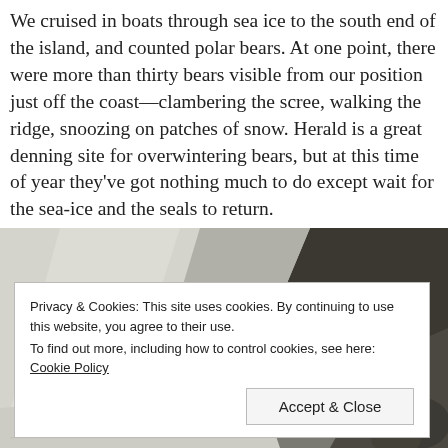We cruised in boats through sea ice to the south end of the island, and counted polar bears. At one point, there were more than thirty bears visible from our position just off the coast—clambering the scree, walking the ridge, snoozing on patches of snow. Herald is a great denning site for overwintering bears, but at this time of year they've got nothing much to do except wait for the sea-ice and the seals to return.
[Figure (photo): Photograph of snow and dark rocky terrain, likely taken on the island, showing a snowy slope alongside dark rock formations.]
Privacy & Cookies: This site uses cookies. By continuing to use this website, you agree to their use.
To find out more, including how to control cookies, see here: Cookie Policy
[Accept & Close button]